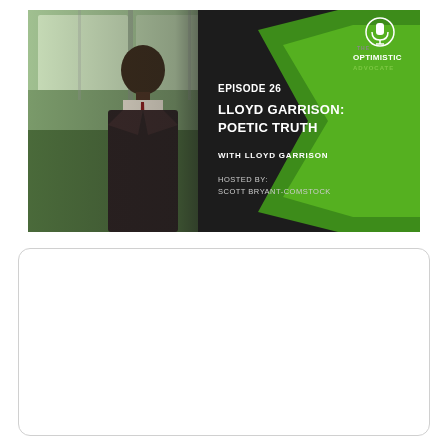[Figure (screenshot): Podcast thumbnail for 'The Optimistic Advocate' Episode 26: Lloyd Garrison: Poetic Truth. Left side shows a man in a dark suit with a red tie standing in front of large windows with a green outdoor view. Right side has a dark background with green chevron arrow graphic. Text shows: EPISODE 26, LLOYD GARRISON: POETIC TRUTH, WITH LLOYD GARRISON, HOSTED BY: SCOTT BRYANT-COMSTOCK. Logo in top right: THE OPTIMISTIC ADVOCATE with podcast microphone icon.]
[Figure (other): Empty white rounded rectangle box, resembling a media player or embed placeholder.]